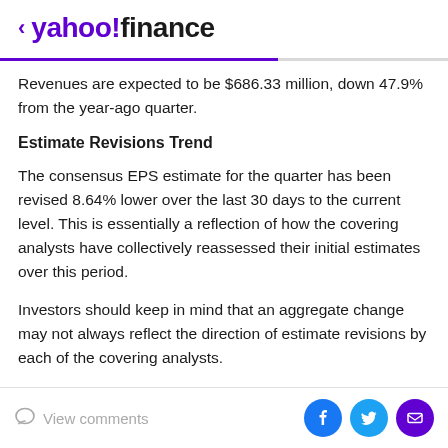< yahoo!finance
Revenues are expected to be $686.33 million, down 47.9% from the year-ago quarter.
Estimate Revisions Trend
The consensus EPS estimate for the quarter has been revised 8.64% lower over the last 30 days to the current level. This is essentially a reflection of how the covering analysts have collectively reassessed their initial estimates over this period.
Investors should keep in mind that an aggregate change may not always reflect the direction of estimate revisions by each of the covering analysts.
View comments